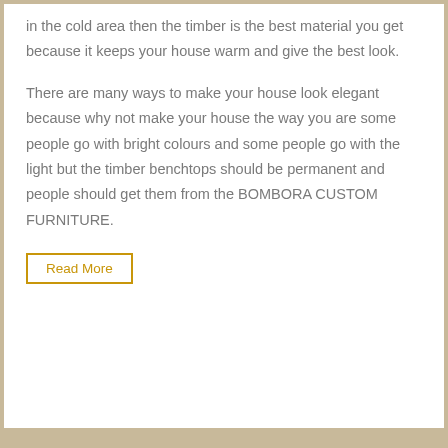in the cold area then the timber is the best material you get because it keeps your house warm and give the best look.
There are many ways to make your house look elegant because why not make your house the way you are some people go with bright colours and some people go with the light but the timber benchtops should be permanent and people should get them from the BOMBORA CUSTOM FURNITURE.
Read More